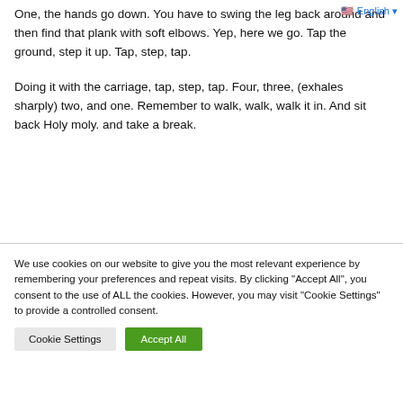One, the hands go down. You have to swing the leg back around and then find that plank with soft elbows. Yep, here we go. Tap the ground, step it up. Tap, step, tap.
Doing it with the carriage, tap, step, tap. Four, three, (exhales sharply) two, and one. Remember to walk, walk, walk it in. And sit back Holy moly. and take a break.
We use cookies on our website to give you the most relevant experience by remembering your preferences and repeat visits. By clicking “Accept All”, you consent to the use of ALL the cookies. However, you may visit "Cookie Settings" to provide a controlled consent.